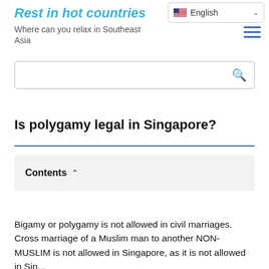Rest in hot countries - Where can you relax in Southeast Asia
Is polygamy legal in Singapore?
Contents
Bigamy or polygamy is not allowed in civil marriages. Cross marriage of a Muslim man to another NON-MUSLIM is not allowed in Singapore, as it is not allowed in Sin...